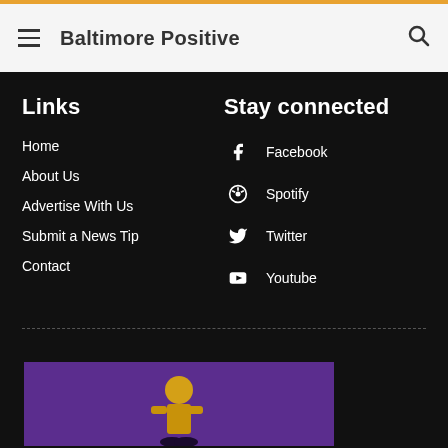Baltimore Positive
Links
Home
About Us
Advertise With Us
Submit a News Tip
Contact
Stay connected
Facebook
Spotify
Twitter
Youtube
Newsletter Signup
[Figure (photo): Purple background image with yellow illustrated figure, partially visible at bottom of page]